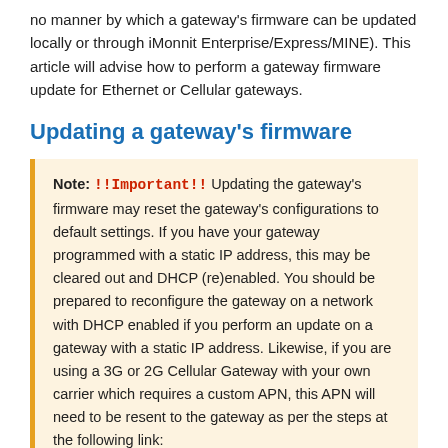no manner by which a gateway's firmware can be updated locally or through iMonnit Enterprise/Express/MINE). This article will advise how to perform a gateway firmware update for Ethernet or Cellular gateways.
Updating a gateway's firmware
Note: !!Important!! Updating the gateway's firmware may reset the gateway's configurations to default settings. If you have your gateway programmed with a static IP address, this may be cleared out and DHCP (re)enabled. You should be prepared to reconfigure the gateway on a network with DHCP enabled if you perform an update on a gateway with a static IP address. Likewise, if you are using a 3G or 2G Cellular Gateway with your own carrier which requires a custom APN, this APN will need to be resent to the gateway as per the steps at the following link: https://monnit.azureedge.net/content/documents/quickstart/MQS024-Monnit-International-CGW-Quick-Start.pdf